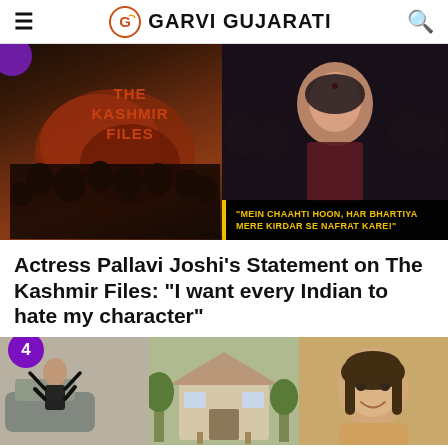GARVI GUJARATI
[Figure (photo): Split image: left side shows The Kashmir Files movie poster with cast silhouettes and red-brown blood splatter design; right side shows actress Pallavi Joshi speaking passionately with yellow-text quote overlay: 'MEIN CHAAHTI HOON, HAR BHARTIYA MERE KIRDAR SE NAFRAT KARE!']
Actress Pallavi Joshi's Statement on The Kashmir Files: "I want every Indian to hate my character"
[Figure (photo): Item 4 - Three-panel image showing a woman with arms raised, a house/bungalow exterior, and a smiling young woman]